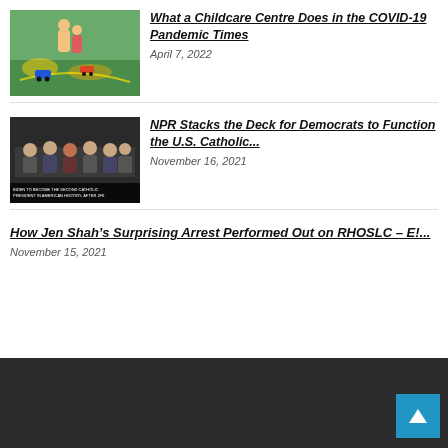[Figure (photo): Children playing with toy cars on a track at a childcare centre]
What a Childcare Centre Does in the COVID-19 Pandemic Times
April 7, 2022
[Figure (photo): Group of people seated at a formal hearing, NPR chyron visible]
NPR Stacks the Deck for Democrats to Function the U.S. Catholic...
November 16, 2021
How Jen Shah’s Surprising Arrest Performed Out on RHOSLC – E!...
November 15, 2021